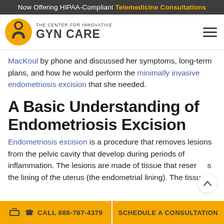Now Offering HIPAA-Compliant Telemedicine Consultations
[Figure (logo): The Center for Innovative GYN CARE logo with yellow circular emblem and dark text]
MacKoul by phone and discussed her symptoms, long-term plans, and how he would perform the minimally invasive endometriosis excision that she needed.
A Basic Understanding of Endometriosis Excision
Endometriosis excision is a procedure that removes lesions from the pelvic cavity that develop during periods of inflammation. The lesions are made of tissue that resembles the lining of the uterus (the endometrial lining). The tissue
CALL 888-787-4379   SCHEDULE A CONSULTATION